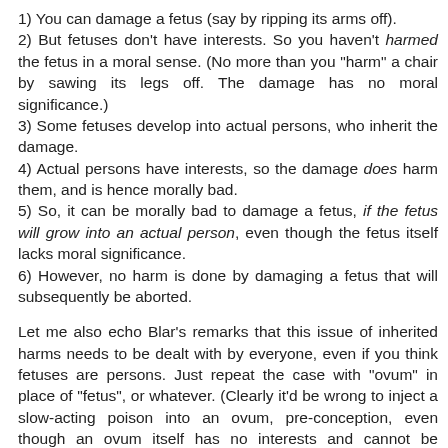1) You can damage a fetus (say by ripping its arms off).
2) But fetuses don't have interests. So you haven't harmed the fetus in a moral sense. (No more than you "harm" a chair by sawing its legs off. The damage has no moral significance.)
3) Some fetuses develop into actual persons, who inherit the damage.
4) Actual persons have interests, so the damage does harm them, and is hence morally bad.
5) So, it can be morally bad to damage a fetus, if the fetus will grow into an actual person, even though the fetus itself lacks moral significance.
6) However, no harm is done by damaging a fetus that will subsequently be aborted.
Let me also echo Blar's remarks that this issue of inherited harms needs to be dealt with by everyone, even if you think fetuses are persons. Just repeat the case with "ovum" in place of "fetus", or whatever. (Clearly it'd be wrong to inject a slow-acting poison into an ovum, pre-conception, even though an ovum itself has no interests and cannot be "harmed" in the morally relevant sense. It is wrong because